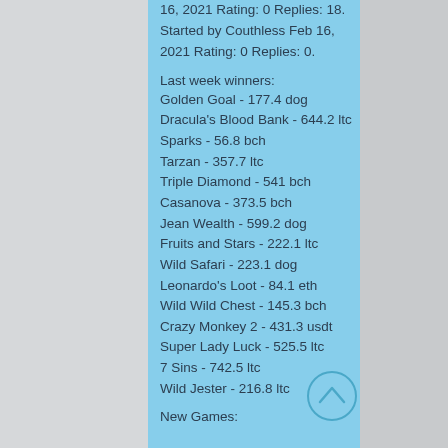16, 2021 Rating: 0 Replies: 18. Started by Couthless Feb 16, 2021 Rating: 0 Replies: 0.
Last week winners:
Golden Goal - 177.4 dog
Dracula's Blood Bank - 644.2 ltc
Sparks - 56.8 bch
Tarzan - 357.7 ltc
Triple Diamond - 541 bch
Casanova - 373.5 bch
Jean Wealth - 599.2 dog
Fruits and Stars - 222.1 ltc
Wild Safari - 223.1 dog
Leonardo's Loot - 84.1 eth
Wild Wild Chest - 145.3 bch
Crazy Monkey 2 - 431.3 usdt
Super Lady Luck - 525.5 ltc
7 Sins - 742.5 ltc
Wild Jester - 216.8 ltc
New Games: